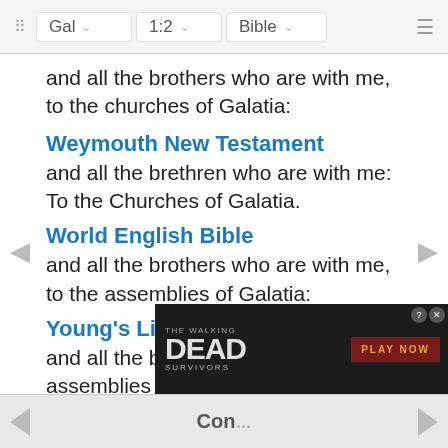Gal 1:2 Bible
and all the brothers who are with me, to the churches of Galatia:
Weymouth New Testament
and all the brethren who are with me: To the Churches of Galatia.
World English Bible
and all the brothers who are with me, to the assemblies of Galatia:
Young's Literal Translation
and all the brethren with me, to the assemblies of Galatia:
Additional Translations ...
[Figure (screenshot): The Walking Dead Survivors game advertisement with PLAY NOW button]
Con...